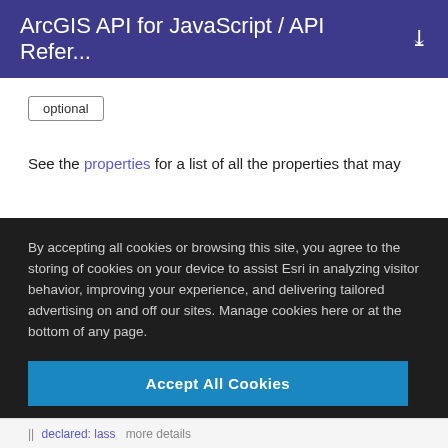ArcGIS API for JavaScript / API Refer...
optional
See the properties for a list of all the properties that may
By accepting all cookies or browsing this site, you agree to the storing of cookies on your device to assist Esri in analyzing visitor behavior, improving your experience, and delivering tailored advertising on and off our sites. Manage cookies here or at the bottom of any page.
Accept All Cookies
Cookies Settings
declared: lass    more details